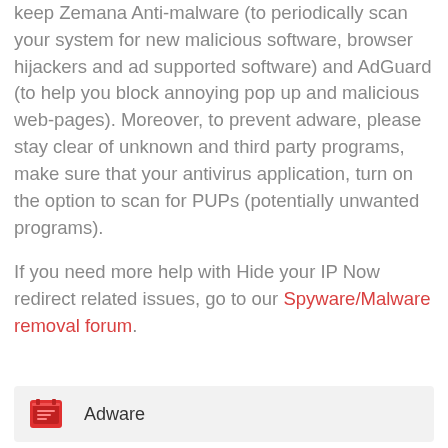keep Zemana Anti-malware (to periodically scan your system for new malicious software, browser hijackers and ad supported software) and AdGuard (to help you block annoying pop up and malicious web-pages). Moreover, to prevent adware, please stay clear of unknown and third party programs, make sure that your antivirus application, turn on the option to scan for PUPs (potentially unwanted programs).
If you need more help with Hide your IP Now redirect related issues, go to our Spyware/Malware removal forum.
Adware